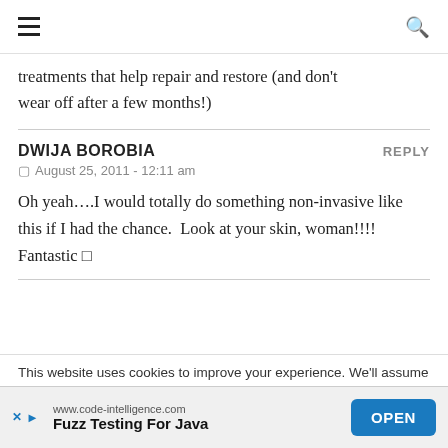≡ [hamburger menu] | [search icon]
treatments that help repair and restore (and don't wear off after a few months!)
DWIJA BOROBIA  REPLY
© August 25, 2011 - 12:11 am
Oh yeah….I would totally do something non-invasive like this if I had the chance.  Look at your skin, woman!!!!  Fantastic 🙂
This website uses cookies to improve your experience. We'll assume
[Figure (other): Advertisement banner: www.code-intelligence.com — Fuzz Testing For Java — OPEN button]